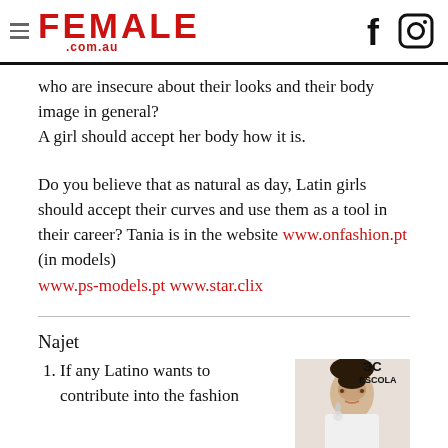FEMALE .com.au
who are insecure about their looks and their body image in general?
A girl should accept her body how it is.
Do you believe that as natural as day, Latin girls should accept their curves and use them as a tool in their career? Tania is in the website www.onfashion.pt (in models) www.ps-models.pt www.star.clix
Najet
If any Latino wants to contribute into the fashion